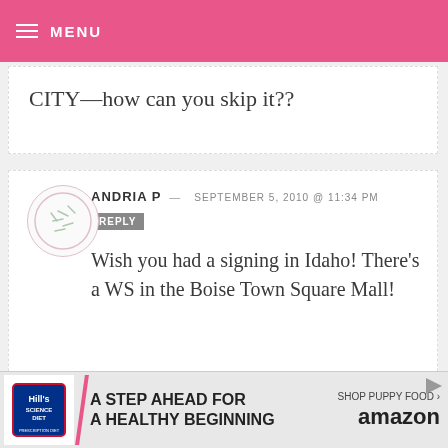MENU
CITY—how can you skip it??
ANDRIA P — SEPTEMBER 5, 2010 @ 11:34 PM
REPLY
Wish you had a signing in Idaho! There's a WS in the Boise Town Square Mall!
NEHA — SEPTEMBER 5, 2010 @ 11:34 PM REPLY
[Figure (infographic): Hill's Science Diet advertisement banner: A Step Ahead for A Healthy Beginning - Shop Puppy Food on Amazon]